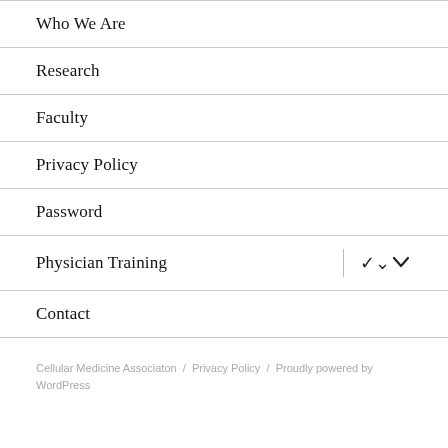Who We Are
Research
Faculty
Privacy Policy
Password
Physician Training
Contact
Cellular Medicine Associaton / Privacy Policy / Proudly powered by WordPress